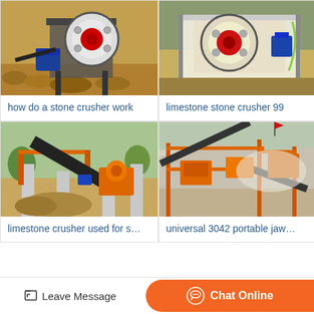[Figure (photo): Stone crusher machine in operation at a quarry site with large flywheel and blue motor visible, surrounded by crushed rock]
how do a stone crusher work
[Figure (photo): Limestone stone crusher machine with large red flywheel on a scaffolding frame at an industrial site]
limestone stone crusher 99
[Figure (photo): Limestone crusher setup used for stone crushing with conveyor belt system and orange crusher equipment on concrete pillars]
limestone crusher used for s…
[Figure (photo): Universal 3042 portable jaw crusher at a large quarry/mining site with orange machinery and conveyor systems]
universal 3042 portable jaw…
Leave Message
Chat Online